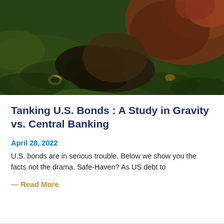[Figure (illustration): A dark painterly illustration showing a figure fallen or crouching on a green mossy/grassy ground, wearing dark clothing and boots, with reddish-brown tones in the upper right and a small yellow object near the lower left.]
Tanking U.S. Bonds : A Study in Gravity vs. Central Banking
April 28, 2022
U.S. bonds are in serious trouble. Below we show you the facts not the drama. Safe-Haven? As US debt to
— Read More